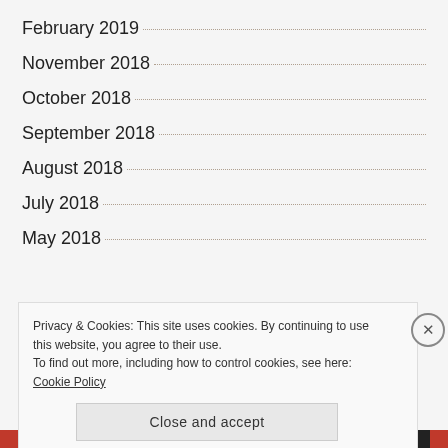February 2019
November 2018
October 2018
September 2018
August 2018
July 2018
May 2018
Privacy & Cookies: This site uses cookies. By continuing to use this website, you agree to their use. To find out more, including how to control cookies, see here: Cookie Policy
Close and accept